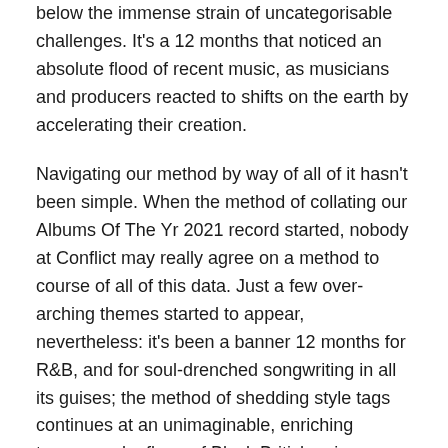below the immense strain of uncategorisable challenges. It's a 12 months that noticed an absolute flood of recent music, as musicians and producers reacted to shifts on the earth by accelerating their creation.
Navigating our method by way of all of it hasn't been simple. When the method of collating our Albums Of The Yr 2021 record started, nobody at Conflict may really agree on a method to course of all of this data. Just a few over-arching themes started to appear, nevertheless: it's been a banner 12 months for R&B, and for soul-drenched songwriting in all its guises; the method of shedding style tags continues at an unimaginable, enriching tempo; and a flurry of Black British voices proceed to sit down on the vanguard of tradition, providing work that provokes, soothes, and conjures up in equal measure.
All through 2021 we now have labored carefully with O2 Music, selling the fantastic return of dwell music to the levels of O2 Academy venues,